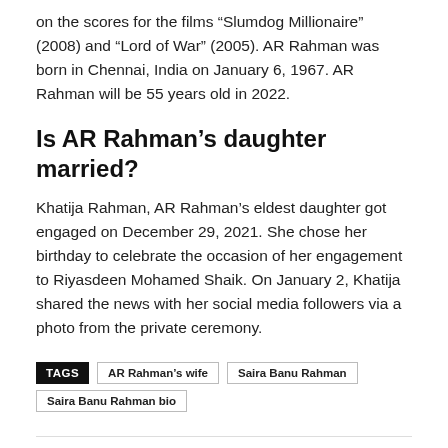on the scores for the films “Slumdog Millionaire” (2008) and “Lord of War” (2005). AR Rahman was born in Chennai, India on January 6, 1967. AR Rahman will be 55 years old in 2022.
Is AR Rahman’s daughter married?
Khatija Rahman, AR Rahman’s eldest daughter got engaged on December 29, 2021. She chose her birthday to celebrate the occasion of her engagement to Riyasdeen Mohamed Shaik. On January 2, Khatija shared the news with her social media followers via a photo from the private ceremony.
TAGS  AR Rahman’s wife  Saira Banu Rahman  Saira Banu Rahman bio